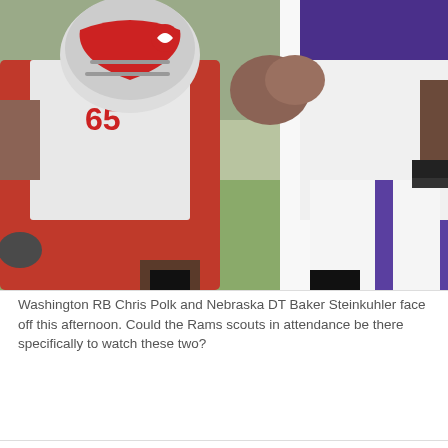[Figure (photo): Action photo of Washington RB Chris Polk and Nebraska DT Baker Steinkuhler facing off during a football game. Player in red and white uniform on the left, player in purple and white uniform on the right, both in contact mid-play.]
Washington RB Chris Polk and Nebraska DT Baker Steinkuhler face off this afternoon. Could the Rams scouts in attendance be there specifically to watch these two?